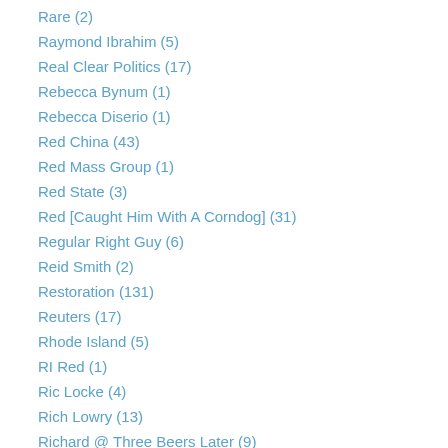Rare (2)
Raymond Ibrahim (5)
Real Clear Politics (17)
Rebecca Bynum (1)
Rebecca Diserio (1)
Red China (43)
Red Mass Group (1)
Red State (3)
Red [Caught Him With A Corndog] (31)
Regular Right Guy (6)
Reid Smith (2)
Restoration (131)
Reuters (17)
Rhode Island (5)
RI Red (1)
Ric Locke (4)
Rich Lowry (13)
Richard @ Three Beers Later (9)
Richard Fernandez (54)
Richard Nixon (10)